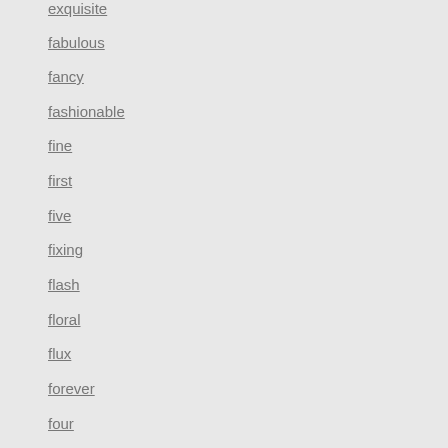exquisite
fabulous
fancy
fashionable
fine
first
five
fixing
flash
floral
flux
forever
four